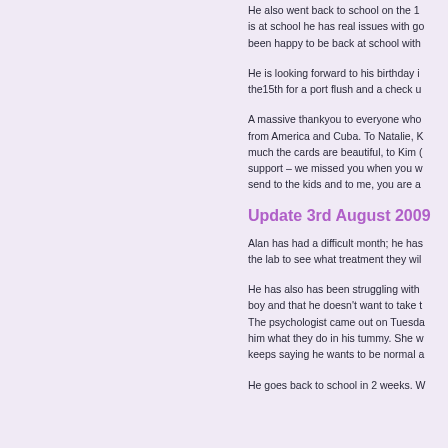He also went back to school on the 1 is at school he has real issues with go been happy to be back at school with
He is looking forward to his birthday i the15th for a port flush and a check u
A massive thankyou to everyone who from America and Cuba. To Natalie, K much the cards are beautiful, to Kim ( support – we missed you when you w send to the kids and to me, you are a
Update 3rd August 2009
Alan has had a difficult month; he has the lab to see what treatment they wil
He has also has been struggling with boy and that he doesn't want to take t The psychologist came out on Tuesda him what they do in his tummy. She w keeps saying he wants to be normal a
He goes back to school in 2 weeks. W